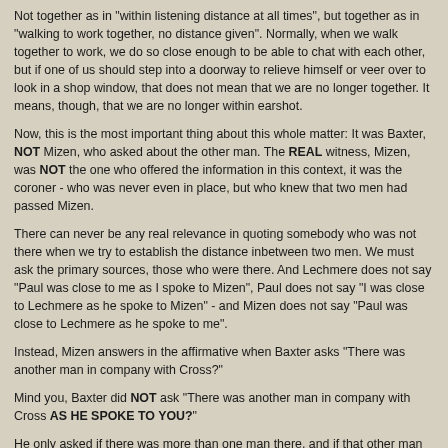Not together as in "within listening distance at all times", but together as in "walking to work together, no distance given". Normally, when we walk together to work, we do so close enough to be able to chat with each other, but if one of us should step into a doorway to relieve himself or veer over to look in a shop window, that does not mean that we are no longer together. It means, though, that we are no longer within earshot.
Now, this is the most important thing about this whole matter: It was Baxter, NOT Mizen, who asked about the other man. The REAL witness, Mizen, was NOT the one who offered the information in this context, it was the coroner - who was never even in place, but who knew that two men had passed Mizen.
There can never be any real relevance in quoting somebody who was not there when we try to establish the distance inbetween two men. We must ask the primary sources, those who were there. And Lechmere does not say "Paul was close to me as I spoke to Mizen", Paul does not say "I was close to Lechmere as he spoke to Mizen" - and Mizen does not say "Paul was close to Lechmere as he spoke to me".
Instead, Mizen answers in the affirmative when Baxter asks "There was another man in company with Cross?"
Mind you, Baxter did NOT ask "There was another man in company with Cross AS HE SPOKE TO YOU?"
He only asked if there was more than one man there, and if that other man was seemingly in company with Lechmere.